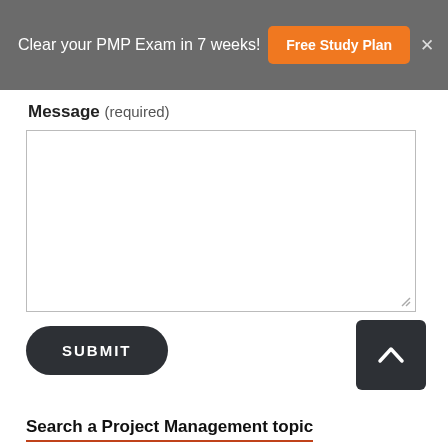Clear your PMP Exam in 7 weeks! Free Study Plan
Message (required)
[Figure (screenshot): Empty message text area input field with resize handle]
SUBMIT
Search a Project Management topic